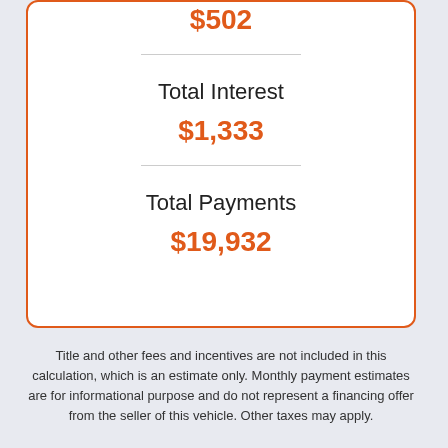$502
Total Interest
$1,333
Total Payments
$19,932
Title and other fees and incentives are not included in this calculation, which is an estimate only. Monthly payment estimates are for informational purpose and do not represent a financing offer from the seller of this vehicle. Other taxes may apply.